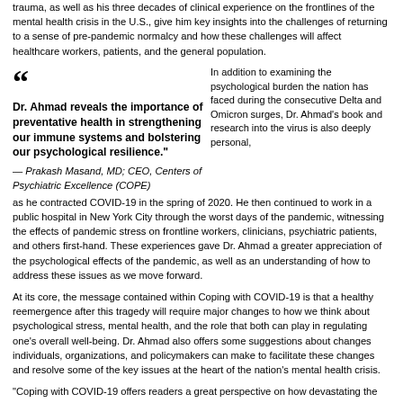trauma, as well as his three decades of clinical experience on the frontlines of the mental health crisis in the U.S., give him key insights into the challenges of returning to a sense of pre-pandemic normalcy and how these challenges will affect healthcare workers, patients, and the general population.
Dr. Ahmad reveals the importance of preventative health in strengthening our immune systems and bolstering our psychological resilience." — Prakash Masand, MD; CEO, Centers of Psychiatric Excellence (COPE)
In addition to examining the psychological burden the nation has faced during the consecutive Delta and Omicron surges, Dr. Ahmad's book and research into the virus is also deeply personal, as he contracted COVID-19 in the spring of 2020. He then continued to work in a public hospital in New York City through the worst days of the pandemic, witnessing the effects of pandemic stress on frontline workers, clinicians, psychiatric patients, and others first-hand. These experiences gave Dr. Ahmad a greater appreciation of the psychological effects of the pandemic, as well as an understanding of how to address these issues as we move forward.
At its core, the message contained within Coping with COVID-19 is that a healthy reemergence after this tragedy will require major changes to how we think about psychological stress, mental health, and the role that both can play in regulating one's overall well-being. Dr. Ahmad also offers some suggestions about changes individuals, organizations, and policymakers can make to facilitate these changes and resolve some of the key issues at the heart of the nation's mental health crisis.
"Coping with COVID-19 offers readers a great perspective on how devastating the pandemic has been," said Prakash Masand, MD; CEO, Centers of Psychiatric